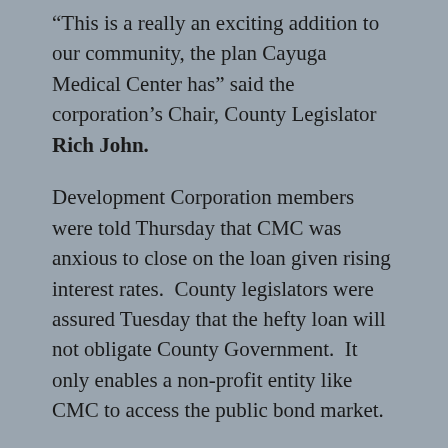“This is a really an exciting addition to our community, the plan Cayuga Medical Center has” said the corporation’s Chair, County Legislator Rich John.
Development Corporation members were told Thursday that CMC was anxious to close on the loan given rising interest rates.  County legislators were assured Tuesday that the hefty loan will not obligate County Government.  It only enables a non-profit entity like CMC to access the public bond market.
Could another health care corporation seek the same benefits, legislator Lee Shurtleff